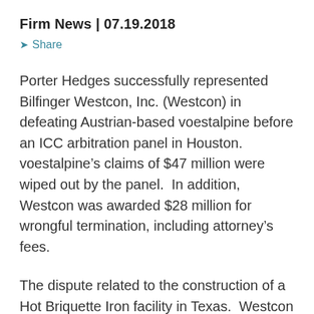Firm News | 07.19.2018
Share
Porter Hedges successfully represented Bilfinger Westcon, Inc. (Westcon) in defeating Austrian-based voestalpine before an ICC arbitration panel in Houston.  voestalpine’s claims of $47 million were wiped out by the panel.  In addition, Westcon was awarded $28 million for wrongful termination, including attorney’s fees.
The dispute related to the construction of a Hot Briquette Iron facility in Texas.  Westcon is